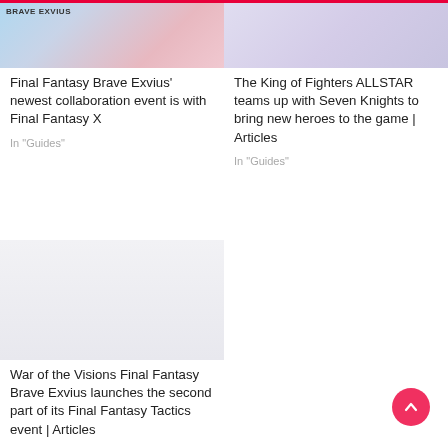[Figure (photo): Final Fantasy Brave Exvius game image with logo and colorful artwork]
Final Fantasy Brave Exvius' newest collaboration event is with Final Fantasy X
In "Guides"
[Figure (photo): The King of Fighters ALLSTAR game artwork]
The King of Fighters ALLSTAR teams up with Seven Knights to bring new heroes to the game | Articles
In "Guides"
[Figure (photo): War of the Visions Final Fantasy Brave Exvius game artwork]
War of the Visions Final Fantasy Brave Exvius launches the second part of its Final Fantasy Tactics event | Articles
In "Guides"